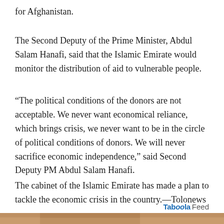for Afghanistan.
The Second Deputy of the Prime Minister, Abdul Salam Hanafi, said that the Islamic Emirate would monitor the distribution of aid to vulnerable people.
“The political conditions of the donors are not acceptable. We never want economical reliance, which brings crisis, we never want to be in the circle of political conditions of donors. We will never sacrifice economic independence,” said Second Deputy PM Abdul Salam Hanafi.
The cabinet of the Islamic Emirate has made a plan to tackle the economic crisis in the country.—Tolonews
[Figure (photo): Bottom strip: partial photo of a person, brownish/tan tones, cropped at page bottom]